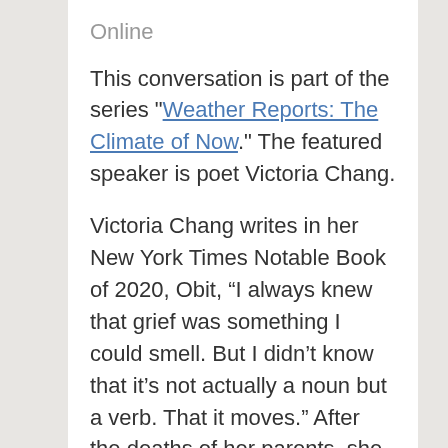Online
This conversation is part of the series "Weather Reports: The Climate of Now." The featured speaker is poet Victoria Chang.
Victoria Chang writes in her New York Times Notable Book of 2020, Obit, “I always knew that grief was something I could smell. But I didn’t know that it’s not actually a noun but a verb. That it moves.” After the deaths of her parents, she refused to write elegies; instead, Chang wrote poetic obituaries of the